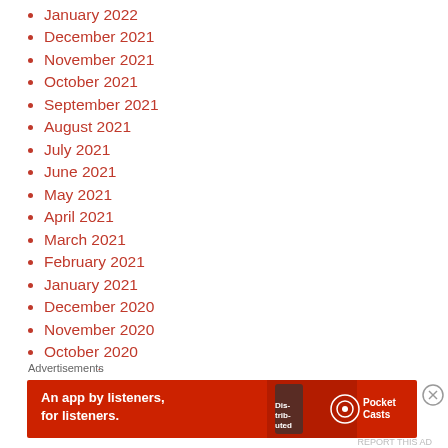January 2022
December 2021
November 2021
October 2021
September 2021
August 2021
July 2021
June 2021
May 2021
April 2021
March 2021
February 2021
January 2021
December 2020
November 2020
October 2020
September 2020
August 2020
[Figure (infographic): Pocket Casts advertisement banner: red background with text 'An app by listeners, for listeners.' and Pocket Casts logo on right side]
Advertisements